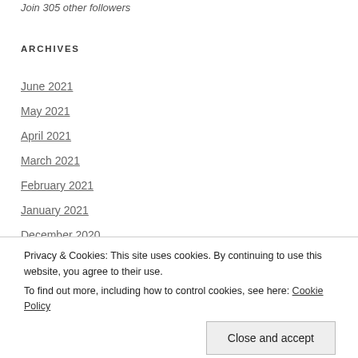Join 305 other followers
ARCHIVES
June 2021
May 2021
April 2021
March 2021
February 2021
January 2021
December 2020
November 2020
Privacy & Cookies: This site uses cookies. By continuing to use this website, you agree to their use.
To find out more, including how to control cookies, see here: Cookie Policy
Close and accept